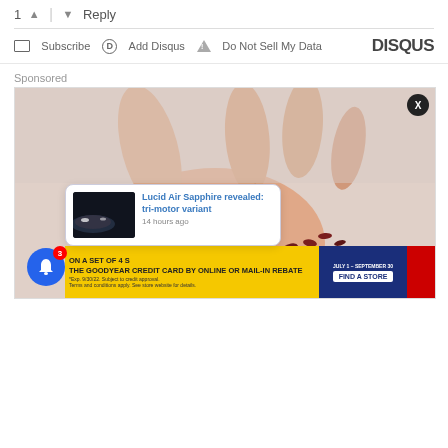1 ↑ | ↓ Reply
Subscribe  Add Disqus  Do Not Sell My Data  DISQUS
Sponsored
[Figure (photo): A hand holding small dark red seeds/berries in the palm, on a light gray background. Overlay elements include an X button, a Lucid Air Sapphire notification popup, a bell notification button with badge '3', a Goodyear yellow ad banner, and a red banner section.]
Lucid Air Sapphire revealed: tri-motor variant
14 hours ago
ON A SET OF 4  THE GOODYEAR CREDIT CARD  BY ONLINE OR MAIL-IN REBATE  *Exp. 9/30/22. Subject to credit approval. Terms and conditions apply. See store website for details.  JULY 1 – SEPTEMBER 30  FIND A STORE